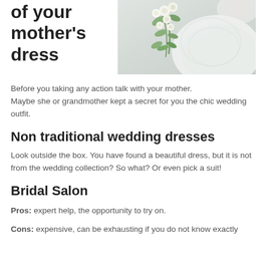of your mother's dress
[Figure (photo): A bridal scene showing a white wedding dress with lace details and a cascading bouquet of white and green flowers]
Before you taking any action talk with your mother.
Maybe she or grandmother kept a secret for you the chic wedding outfit.
Non traditional wedding dresses
Look outside the box. You have found a beautiful dress, but it is not from the wedding collection? So what? Or even pick a suit!
Bridal Salon
Pros: expert help, the opportunity to try on.
Cons: expensive, can be exhausting if you do not know exactly